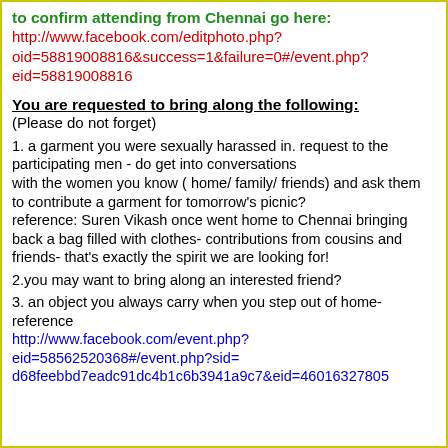to confirm attending from Chennai go here:
http://www.facebook.com/editphoto.php?oid=58819008816&success=1&failure=0#/event.php?eid=58819008816
You are requested to bring along the following:
(Please do not forget)
1. a garment you were sexually harassed in. request to the participating men - do get into conversations with the women you know ( home/ family/ friends) and ask them to contribute a garment for tomorrow's picnic? reference: Suren Vikash once went home to Chennai bringing back a bag filled with clothes- contributions from cousins and friends- that's exactly the spirit we are looking for!
2.you may want to bring along an interested friend?
3. an object you always carry when you step out of home- reference
http://www.facebook.com/event.php?eid=58562520368#/event.php?sid=d68feebbd7eadc91dc4b1c6b3941a9c7&eid=46016327805